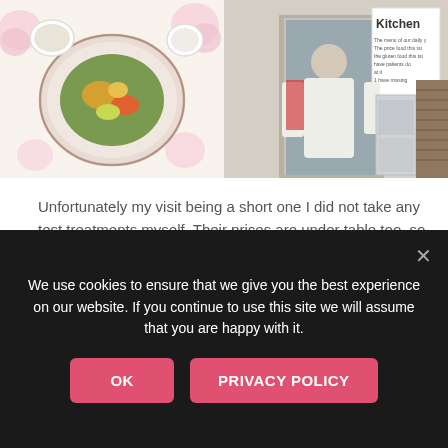[Figure (photo): Two side-by-side photographs: left shows a plate of food (salad/dish) on a floral tablecloth with a bowl and cup; right shows a person in a white shirt from behind standing near a kitchen doorway with a sign reading 'kitchen'.]
Unfortunately my visit being a short one I did not take any test treatments myself. Their prices are under table too, so to say. I later understood why he wants to keep as low key as possible because the Malaysian government later(in May 2017) banned ozone therapy completely and he was trying to avoid drawing too much attention. The prices also vary depending on the protocol packages that are individually planned. But a single EBOO might be available at around 120 USD if
We use cookies to ensure that we give you the best experience on our website. If you continue to use this site we will assume that you are happy with it.
OK
PRIVACY POLICY